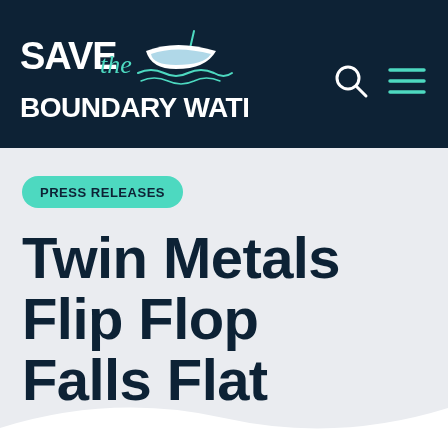[Figure (logo): Save the Boundary Waters logo — white bold text 'SAVE BOUNDARY WATERS' with 'the' in teal script, and a teal illustrated canoe on a dark navy background header]
PRESS RELEASES
Twin Metals Flip Flop Falls Flat
Jun 13, 2022
by Jeremy Drucker